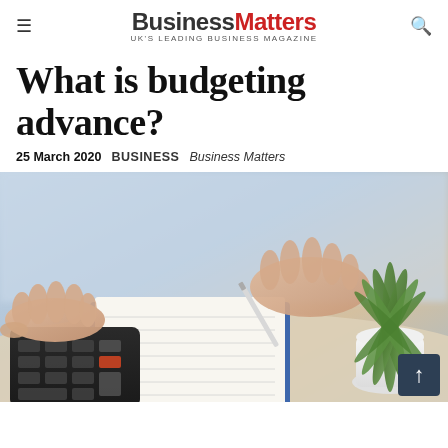Business Matters — UK'S LEADING BUSINESS MAGAZINE
What is budgeting advance?
25 March 2020   BUSINESS   Business Matters
[Figure (photo): Close-up photo of a person's hands on a calculator and writing on papers/clipboard on a desk, with a green potted plant in the background on the right side.]